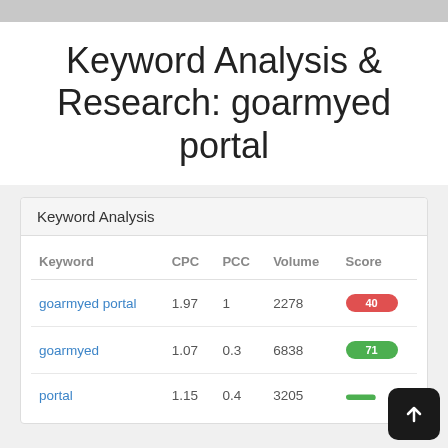Keyword Analysis & Research: goarmyed portal
Keyword Analysis
| Keyword | CPC | PCC | Volume | Score |
| --- | --- | --- | --- | --- |
| goarmyed portal | 1.97 | 1 | 2278 | 40 |
| goarmyed | 1.07 | 0.3 | 6838 | 71 |
| portal | 1.15 | 0.4 | 3205 |  |